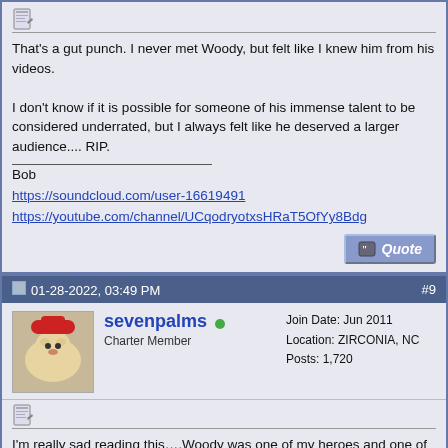[Figure (other): Post icon (notepad/edit icon)]
That's a gut punch. I never met Woody, but felt like I knew him from his videos.

I don't know if it is possible for someone of his immense talent to be considered underrated, but I always felt like he deserved a larger audience.... RIP.
Bob
https://soundcloud.com/user-16619491
https://youtube.com/channel/UCqodryotxsHRaT5OfYy8Bdg
01-28-2022, 03:49 PM  #9
[Figure (photo): Avatar image of a dog wearing a red hat/outfit]
sevenpalms
Charter Member
Join Date: Jun 2011
Location: ZIRCONIA, NC
Posts: 1,720
[Figure (other): Post icon (notepad/edit icon)]
I'm really sad reading this....Woody was one of my heroes and one of the nicest guys you would ever meet. Big loss to our community…
Jeff